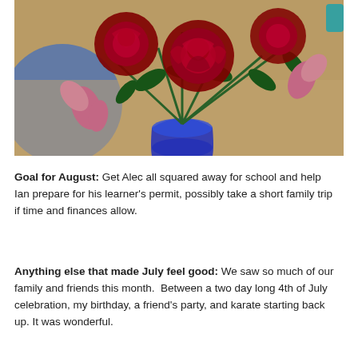[Figure (photo): A bouquet of red roses and pink alstroemeria flowers in a blue glass vase, sitting on a light wood table with a blue plate visible in the background.]
Goal for August: Get Alec all squared away for school and help Ian prepare for his learner's permit, possibly take a short family trip if time and finances allow.
Anything else that made July feel good: We saw so much of our family and friends this month.  Between a two day long 4th of July celebration, my birthday, a friend's party, and karate starting back up. It was wonderful.